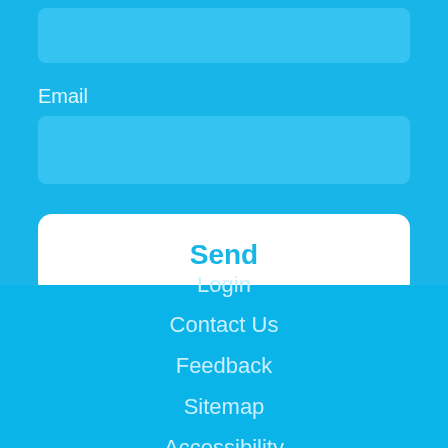[Figure (screenshot): Partial input field at top of form, light blue rounded rectangle]
Email
[Figure (screenshot): Email input field, light blue rounded rectangle]
Send
Login
Contact Us
Feedback
Sitemap
Accessibility